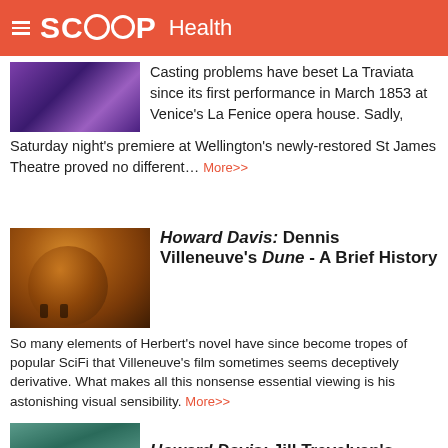SCOOP Health
Casting problems have beset La Traviata since its first performance in March 1853 at Venice's La Fenice opera house. Sadly, Saturday night's premiere at Wellington's newly-restored St James Theatre proved no different... More>>
Howard Davis: Dennis Villeneuve's Dune - A Brief History
So many elements of Herbert's novel have since become tropes of popular SciFi that Villeneuve's film sometimes seems deceptively derivative. What makes all this nonsense essential viewing is his astonishing visual sensibility. More>>
Howard Davis: Jill Trevelyan's